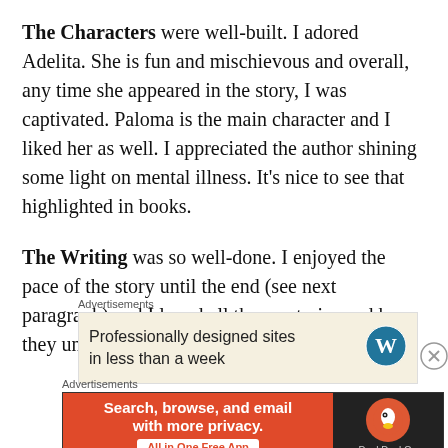The Characters were well-built. I adored Adelita. She is fun and mischievous and overall, any time she appeared in the story, I was captivated. Paloma is the main character and I liked her as well. I appreciated the author shining some light on mental illness. It's nice to see that highlighted in books.
The Writing was so well-done. I enjoyed the pace of the story until the end (see next paragraph) and I loved all the mysteries and how they unfolded in the story.
[Figure (other): Advertisement box: 'Professionally designed sites in less than a week' with WordPress logo on beige background]
[Figure (other): Advertisement box: DuckDuckGo 'Search, browse, and email with more privacy. All in One Free App' on orange and dark background]